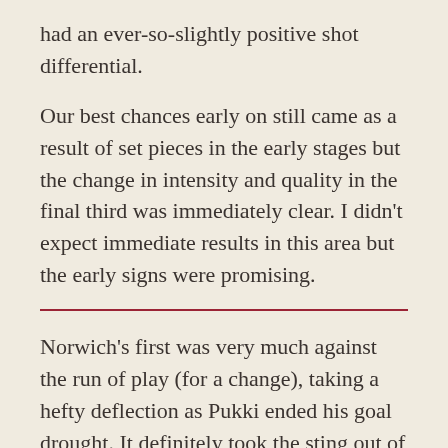had an ever-so-slightly positive shot differential.
Our best chances early on still came as a result of set pieces in the early stages but the change in intensity and quality in the final third was immediately clear. I didn't expect immediate results in this area but the early signs were promising.
Norwich's first was very much against the run of play (for a change), taking a hefty deflection as Pukki ended his goal drought. It definitely took the sting out of an otherwise promising start.
For the misfortune moments before, Norwich handed us an early Christmas present with one of